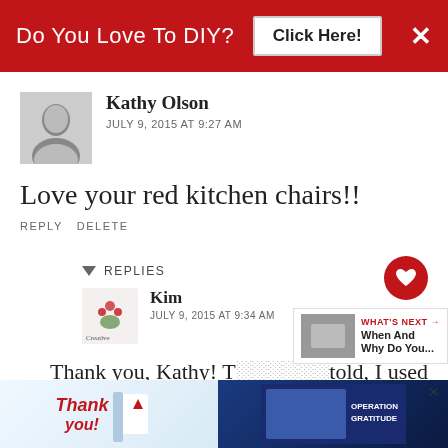[Figure (screenshot): Red banner ad: 'Do You Love To DIY?' with 'Click Here!' button and X close button]
Kathy Olson
JULY 9, 2015 AT 9:27 AM
Love your red kitchen chairs!!
REPLY DELETE
REPLIES
Kim
JULY 9, 2015 AT 9:34 AM
Thank you, Kathy! T... told, I used to work for Pottery Barn (a million...
[Figure (photo): What's Next thumbnail showing a photo related to 'When And Why Do You...']
[Figure (photo): Bottom advertisement banner: 'Thank you!' with Operation Gratitude imagery]